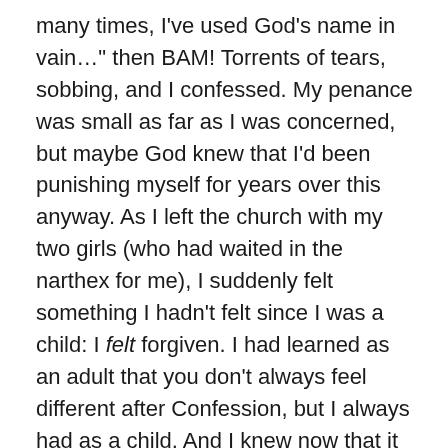many times, I've used God's name in vain…" then BAM! Torrents of tears, sobbing, and I confessed. My penance was small as far as I was concerned, but maybe God knew that I'd been punishing myself for years over this anyway. As I left the church with my two girls (who had waited in the narthex for me), I suddenly felt something I hadn't felt since I was a child: I felt forgiven. I had learned as an adult that you don't always feel different after Confession, but I always had as a child. And I knew now that it was a tremendous grace. I started to cry all over again, but, this time, they were tears of joy.
“Mommy, what’s wrong?” Big Girl, then 5, asked me.
“Nothing, honey, I was just so happy because God forgave me.”